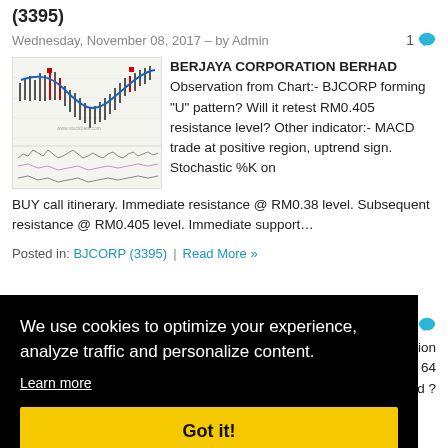(3395)
Wednesday, November 08, 2017 – by Admin
[Figure (screenshot): Stock chart showing BJCORP price movement with U pattern, blue curve line overlay, candlestick data, and oscillator indicators below]
BERJAYA CORPORATION BERHAD Observation from Chart:- BJCORP forming "U" pattern? Will it retest RM0.405 resistance level? Other indicator:- MACD trade at positive region, uptrend sign. Stochastic %K on BUY call itinerary. Immediate resistance @ RM0.38 level. Subsequent resistance @ RM0.405 level. Immediate support…
Posted in: BJCORP (3395) | Read More »
We use cookies to optimize your experience, analyze traffic and personalize content.
Learn more
Got it!
0
ation
64
d ?
Stochastic %K on SELL call.